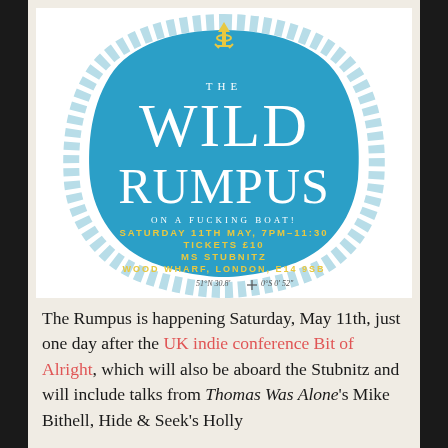[Figure (illustration): The Wild Rumpus event poster showing a blue shield/badge shape with rope border, yellow anchor at top, text reading THE WILD RUMPUS ON A FUCKING BOAT! SATURDAY 11TH MAY, 7PM-11:30 TICKETS £10 MS STUBNITZ WOOD WHARF, LONDON, E14 9SB, with coordinates 51°N 30.8' 0°S 0' 52'' and a compass cross symbol]
The Rumpus is happening Saturday, May 11th, just one day after the UK indie conference Bit of Alright, which will also be aboard the Stubnitz and will include talks from Thomas Was Alone's Mike Bithell, Hide & Seek's Holly